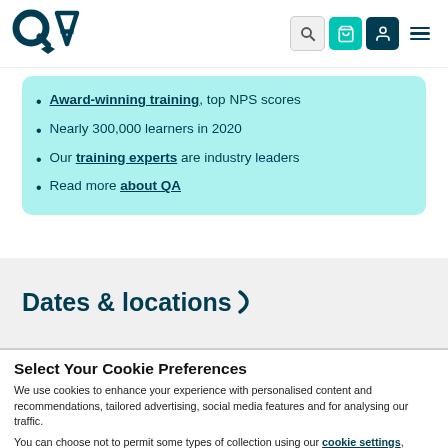QA logo with navigation icons: search, cart, user, menu
Award-winning training, top NPS scores
Nearly 300,000 learners in 2020
Our training experts are industry leaders
Read more about QA
Dates & locations
Select Your Cookie Preferences
We use cookies to enhance your experience with personalised content and recommendations, tailored advertising, social media features and for analysing our traffic.
You can choose not to permit some types of collection using our cookie settings, which may impact your experience of the website and services we offer.